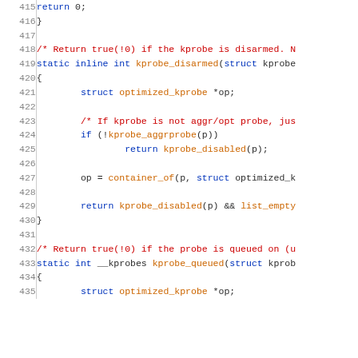Source code listing, lines 415-435, C kernel probe implementation
415        return 0;
416    }
417
418    /* Return true(!0) if the kprobe is disarmed. N
419    static inline int kprobe_disarmed(struct kprobe
420    {
421            struct optimized_kprobe *op;
422
423            /* If kprobe is not aggr/opt probe, jus
424            if (!kprobe_aggrprobe(p))
425                    return kprobe_disabled(p);
426
427            op = container_of(p, struct optimized_k
428
429            return kprobe_disabled(p) && list_empty
430    }
431
432    /* Return true(!0) if the probe is queued on (u
433    static int __kprobes kprobe_queued(struct kprob
434    {
435            struct optimized_kprobe *op;